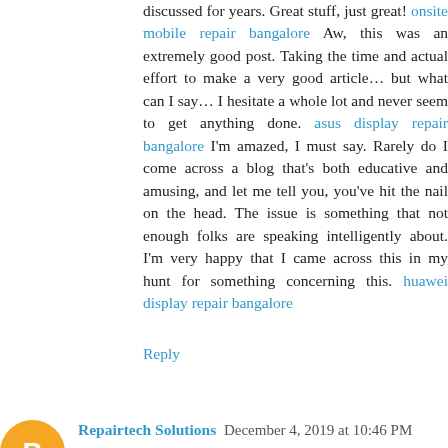discussed for years. Great stuff, just great! onsite mobile repair bangalore Aw, this was an extremely good post. Taking the time and actual effort to make a very good article… but what can I say… I hesitate a whole lot and never seem to get anything done. asus display repair bangalore I'm amazed, I must say. Rarely do I come across a blog that's both educative and amusing, and let me tell you, you've hit the nail on the head. The issue is something that not enough folks are speaking intelligently about. I'm very happy that I came across this in my hunt for something concerning this. huawei display repair bangalore
Reply
Repairtech Solutions December 4, 2019 at 10:46 PM
Oh my goodness! Awesome article dude! Thank you, However I am experiencing problems with your RSS. I don't know the reason why I can't join it. Is there anybody having identical RSS issues? Anyone that knows the answer can you kindly respond? Thanx!! online laptop repair center bangalore An outstanding share! I have just forwarded this onto a colleague who had been doing a little research on